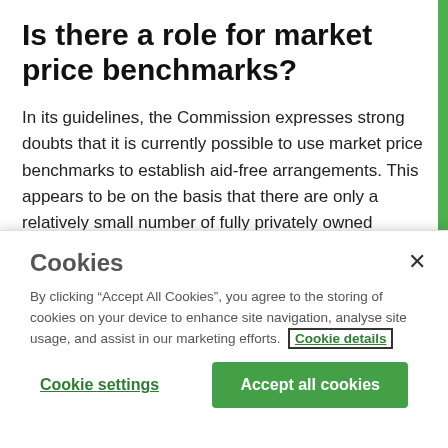Is there a role for market price benchmarks?
In its guidelines, the Commission expresses strong doubts that it is currently possible to use market price benchmarks to establish aid-free arrangements. This appears to be on the basis that there are only a relatively small number of fully privately owned airports in Europe, and prices charged by privately owned airports may not provide a useful benchmark, as these airports often compete for the custom
Cookies
By clicking “Accept All Cookies”, you agree to the storing of cookies on your device to enhance site navigation, analyse site usage, and assist in our marketing efforts. Cookie details
Cookie settings
Accept all cookies